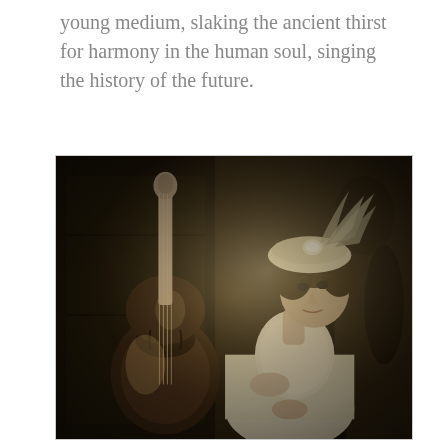young medium, slaking the ancient thirst for harmony in the human soul, singing the history of the future.
[Figure (photo): Vintage sepia-toned photograph of a young woman in Edwardian-era clothing, wearing a feathered hat and a white lace dress, seated next to a large cello or double bass, with an ornate dark background.]